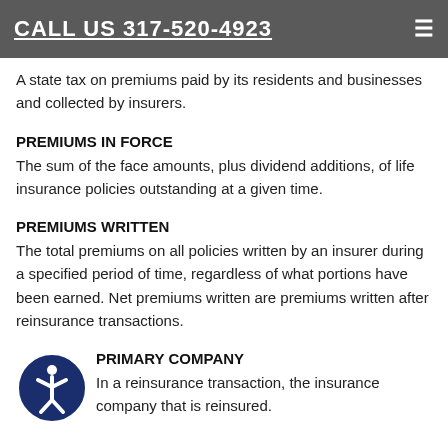CALL US 317-520-4923
A state tax on premiums paid by its residents and businesses and collected by insurers.
PREMIUMS IN FORCE
The sum of the face amounts, plus dividend additions, of life insurance policies outstanding at a given time.
PREMIUMS WRITTEN
The total premiums on all policies written by an insurer during a specified period of time, regardless of what portions have been earned. Net premiums written are premiums written after reinsurance transactions.
PRIMARY COMPANY
In a reinsurance transaction, the insurance company that is reinsured.